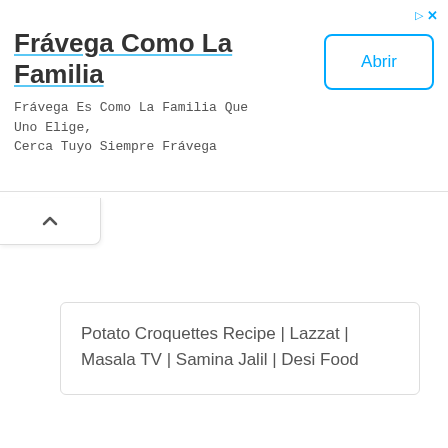[Figure (screenshot): Advertisement banner for Frávega Como La Familia with title, body text, and Abrir button]
Frávega Como La Familia
Frávega Es Como La Familia Que Uno Elige, Cerca Tuyo Siempre Frávega
Abrir
Potato Croquettes Recipe | Lazzat | Masala TV | Samina Jalil | Desi Food